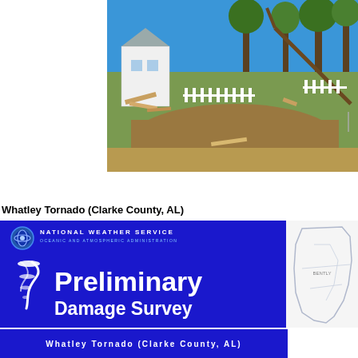[Figure (photo): Outdoor scene showing tornado damage in Clarke County, AL. A small white building/shed is visible on the left, and fallen or damaged trees are seen in the background against a blue sky. The foreground shows disturbed ground, debris, and a white picket fence segment.]
Whatley Tornado (Clarke County, AL)
[Figure (infographic): National Weather Service Preliminary Damage Survey banner. Blue background with NOAA logo and 'NATIONAL WEATHER SERVICE OCEANIC AND ATMOSPHERIC ADMINISTRATION' text at top. Large white tornado icon on left with large white bold text 'Preliminary' and 'Damage Survey' below.]
[Figure (map): Partial map showing outline of Clarke County, AL area with light blue/grey lines on white background.]
Whatley Tornado (Clarke County, AL)